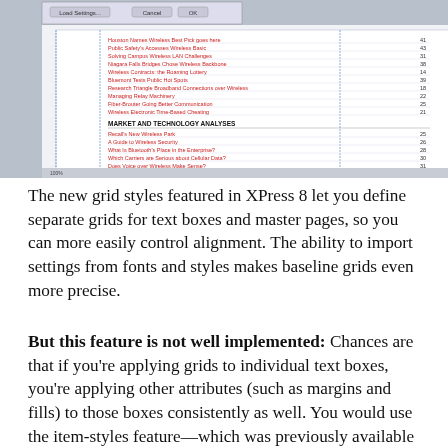[Figure (screenshot): Screenshot of QuarkXPress 8 software showing a document with table of contents listing wireless networking articles, alongside Colors and Layers panels on the right side.]
The new grid styles featured in XPress 8 let you define separate grids for text boxes and master pages, so you can more easily control alignment. The ability to import settings from fonts and styles makes baseline grids even more precise.
But this feature is not well implemented: Chances are that if you're applying grids to individual text boxes, you're applying other attributes (such as margins and fills) to those boxes consistently as well. You would use the item-styles feature—which was previously available through the free XPert Tools